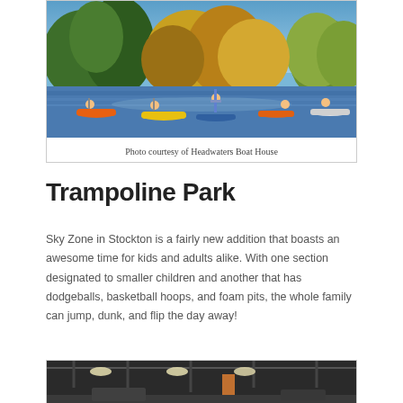[Figure (photo): People kayaking and stand-up paddleboarding on a river surrounded by trees with autumn foliage under a blue sky]
Photo courtesy of Headwaters Boat House
Trampoline Park
Sky Zone in Stockton is a fairly new addition that boasts an awesome time for kids and adults alike. With one section designated to smaller children and another that has dodgeballs, basketball hoops, and foam pits, the whole family can jump, dunk, and flip the day away!
[Figure (photo): Interior of a trampoline park with industrial ceiling, lights, and equipment visible]